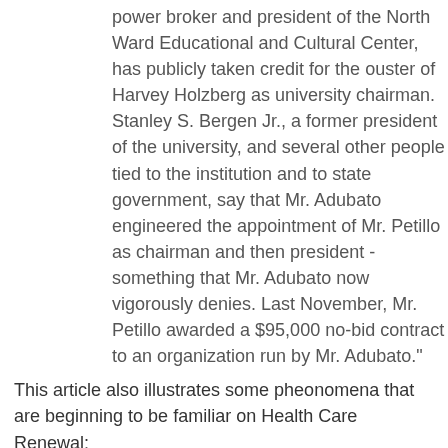power broker and president of the North Ward Educational and Cultural Center, has publicly taken credit for the ouster of Harvey Holzberg as university chairman. Stanley S. Bergen Jr., a former president of the university, and several other people tied to the institution and to state government, say that Mr. Adubato engineered the appointment of Mr. Petillo as chairman and then president - something that Mr. Adubato now vigorously denies. Last November, Mr. Petillo awarded a $95,000 no-bid contract to an organization run by Mr. Adubato."
This article also illustrates some pheonomena that are beginning to be familiar on Health Care Renewal:
Health Care Organizations Seem to Operate with Little Oversight or Accountability - "But lawmakers, watchdog groups and political scientists say the causes boil down to two basic factors: a relative lack of scrutiny at the university, and the unique political structure and